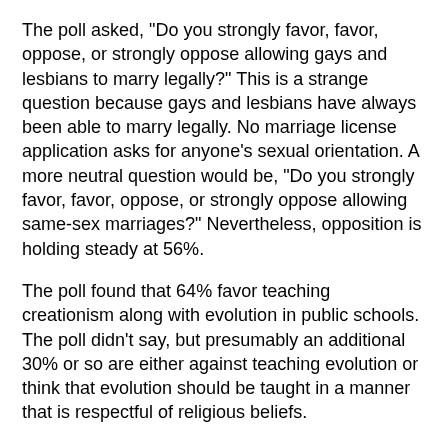The poll asked, "Do you strongly favor, favor, oppose, or strongly oppose allowing gays and lesbians to marry legally?" This is a strange question because gays and lesbians have always been able to marry legally. No marriage license application asks for anyone's sexual orientation. A more neutral question would be, "Do you strongly favor, favor, oppose, or strongly oppose allowing same-sex marriages?" Nevertheless, opposition is holding steady at 56%.
The poll found that 64% favor teaching creationism along with evolution in public schools. The poll didn't say, but presumably an additional 30% or so are either against teaching evolution or think that evolution should be taught in a manner that is respectful of religious beliefs.
The poll had some questions on stem cell research, and none of the responses were inconsistent with Bush administration policy. I can only assume that the Pew folks were afraid that most people would agree with Bush policies, if the question were asked directly.